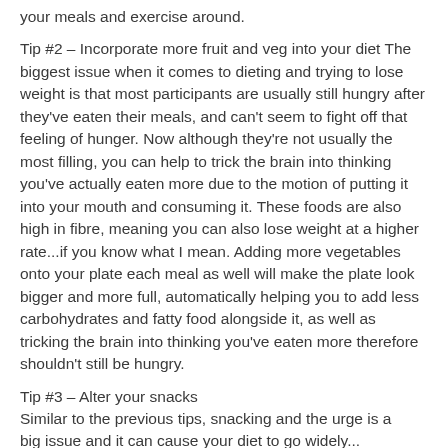your meals and exercise around.
Tip #2 - Incorporate more fruit and veg into your diet The biggest issue when it comes to dieting and trying to lose weight is that most participants are usually still hungry after they've eaten their meals, and can't seem to fight off that feeling of hunger. Now although they're not usually the most filling, you can help to trick the brain into thinking you've actually eaten more due to the motion of putting it into your mouth and consuming it. These foods are also high in fibre, meaning you can also lose weight at a higher rate...if you know what I mean. Adding more vegetables onto your plate each meal as well will make the plate look bigger and more full, automatically helping you to add less carbohydrates and fatty food alongside it, as well as tricking the brain into thinking you've eaten more therefore shouldn't still be hungry.
Tip #3 - Alter your snacks Similar to the previous tips, snacking and the urge is a big issue and it can cause your diet to go widely...